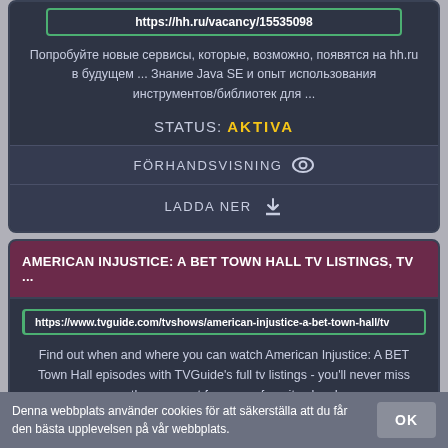https://hh.ru/vacancy/15535098
Попробуйте новые сервисы, которые, возможно, появятся на hh.ru в будущем ... Знание Java SE и опыт использования инструментов/библиотек для ...
STATUS: AKTIVA
FÖRHANDSVISNING 👁
LADDA NER ⬇
AMERICAN INJUSTICE: A BET TOWN HALL TV LISTINGS, TV ...
https://www.tvguide.com/tvshows/american-injustice-a-bet-town-hall/tv
Find out when and where you can watch American Injustice: A BET Town Hall episodes with TVGuide's full tv listings - you'll never miss another moment from your favorite show!
Denna webbplats använder cookies för att säkerställa att du får den bästa upplevelsen på vår webbplats.